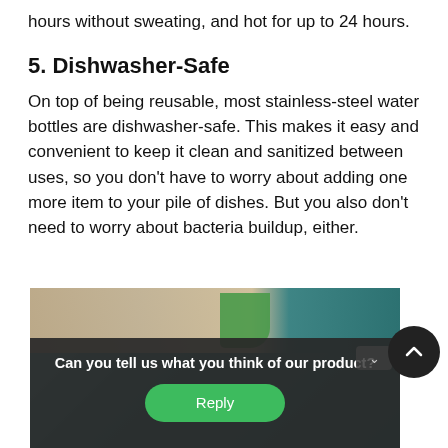hours without sweating, and hot for up to 24 hours.
5. Dishwasher-Safe
On top of being reusable, most stainless-steel water bottles are dishwasher-safe. This makes it easy and convenient to keep it clean and sanitized between uses, so you don’t have to worry about adding one more item to your pile of dishes. But you also don’t need to worry about bacteria buildup, either.
[Figure (photo): Photo of hands and a green plant against a teal background, partially obscured by a dark overlay panel with a survey prompt reading 'Can you tell us what you think of our product?' and a green Reply button.]